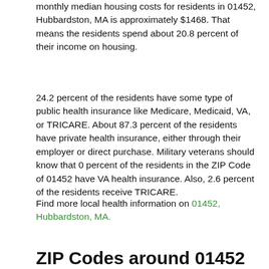monthly median housing costs for residents in 01452, Hubbardston, MA is approximately $1468. That means the residents spend about 20.8 percent of their income on housing.
24.2 percent of the residents have some type of public health insurance like Medicare, Medicaid, VA, or TRICARE. About 87.3 percent of the residents have private health insurance, either through their employer or direct purchase. Military veterans should know that 0 percent of the residents in the ZIP Code of 01452 have VA health insurance. Also, 2.6 percent of the residents receive TRICARE.
Find more local health information on 01452, Hubbardston, MA.
ZIP Codes around 01452